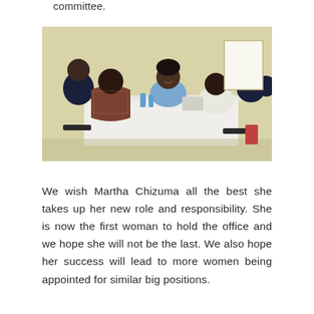committee.
[Figure (photo): Group of people seated around a table in a meeting or workshop setting. Several individuals in formal and traditional attire are visible. A woman in the center appears to be speaking. A whiteboard is visible in the background.]
We wish Martha Chizuma all the best she takes up her new role and responsibility. She is now the first woman to hold the office and we hope she will not be the last. We also hope her success will lead to more women being appointed for similar big positions.